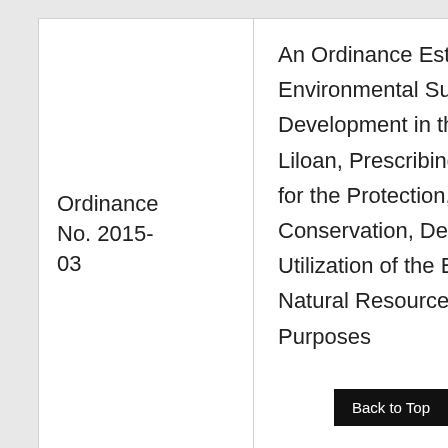Ordinance No. 2015-03
An Ordinance Establishing Environmental Sustainability and Development in the Municipality of Liloan, Prescribing Therein Measures for the Protection, Preservation, Conservation, Development and Utilization of the Environment and Natural Resources and For Other Purposes